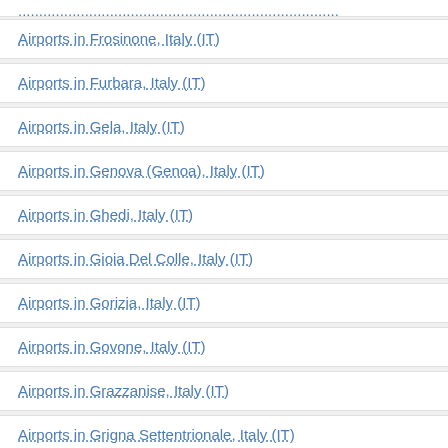Airports in Frosinone, Italy (IT)
Airports in Furbara, Italy (IT)
Airports in Gela, Italy (IT)
Airports in Genova (Genoa), Italy (IT)
Airports in Ghedi, Italy (IT)
Airports in Gioia Del Colle, Italy (IT)
Airports in Gorizia, Italy (IT)
Airports in Govone, Italy (IT)
Airports in Grazzanise, Italy (IT)
Airports in Grigna Settentrionale, Italy (IT)
Airports in Grosseto, Italy (IT)
Airports in Grottamare, Italy (IT)
Airports in Guardiavecchia, Italy (IT)
Airports in Guidonia, Italy (IT)